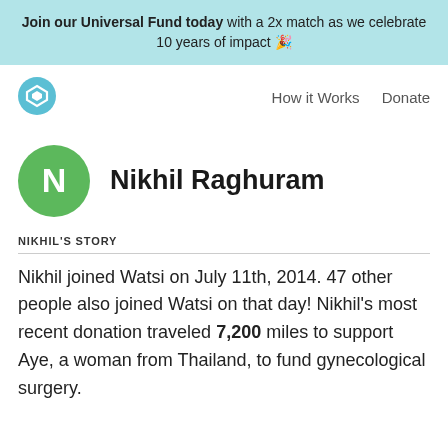Join our Universal Fund today with a 2x match as we celebrate 10 years of impact 🎉
[Figure (logo): Watsi logo — blue circle with a diamond/tag icon inside, white on blue]
How it Works    Donate
Nikhil Raghuram
NIKHIL'S STORY
Nikhil joined Watsi on July 11th, 2014. 47 other people also joined Watsi on that day! Nikhil's most recent donation traveled 7,200 miles to support Aye, a woman from Thailand, to fund gynecological surgery.